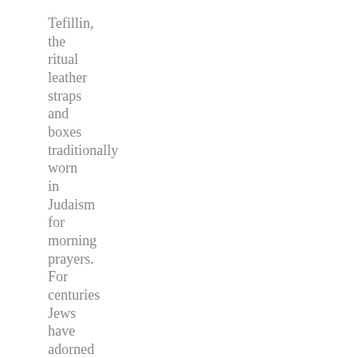Tefillin, the ritual leather straps and boxes traditionally worn in Judaism for morning prayers. For centuries Jews have adorned themselves with holy blessings